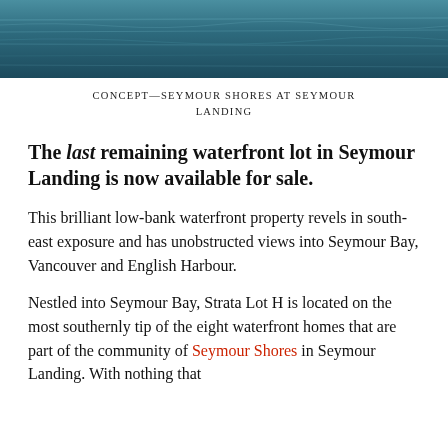[Figure (photo): Aerial or wide-angle photograph of water — Seymour Bay waterfront scene, teal/dark blue tones]
CONCEPT—SEYMOUR SHORES AT SEYMOUR LANDING
The last remaining waterfront lot in Seymour Landing is now available for sale.
This brilliant low-bank waterfront property revels in south-east exposure and has unobstructed views into Seymour Bay, Vancouver and English Harbour.
Nestled into Seymour Bay, Strata Lot H is located on the most southernly tip of the eight waterfront homes that are part of the community of Seymour Shores in Seymour Landing. With noting that...